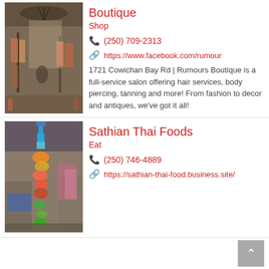[Figure (photo): Interior of a boutique shop with clothing and decor items hanging, warm lighting.]
Boutique
Shop
(250) 709-2313
https://www.facebook.com/rumour
1721 Cowichan Bay Rd | Rumours Boutique is a full-service salon offering hair services, body piercing, tanning and more! From fashion to decor and antiques, we've got it all!
[Figure (photo): Colorful hanging decorations (flowers/garlands) in a market or restaurant setting.]
Sathian Thai Foods
Eat
(250) 746-4889
https://sathian-thai-food.business.site/